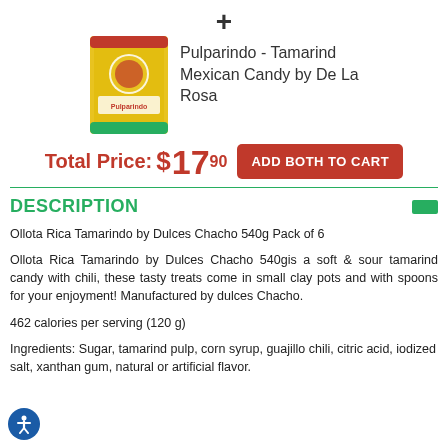[Figure (illustration): Plus sign (+) icon in dark gray, indicating an add/bundle action]
[Figure (photo): Product image of Pulparindo Tamarind Mexican Candy by De La Rosa, yellow packaging]
Pulparindo - Tamarind Mexican Candy by De La Rosa
Total Price: $17.90  ADD BOTH TO CART
DESCRIPTION
Ollota Rica Tamarindo by Dulces Chacho 540g Pack of 6
Ollota Rica Tamarindo by Dulces Chacho 540gis a soft & sour tamarind candy with chili, these tasty treats come in small clay pots and with spoons for your enjoyment! Manufactured by dulces Chacho.
462 calories per serving (120 g)
Ingredients: Sugar, tamarind pulp, corn syrup, guajillo chili, citric acid, iodized salt, xanthan gum, natural or artificial flavor.